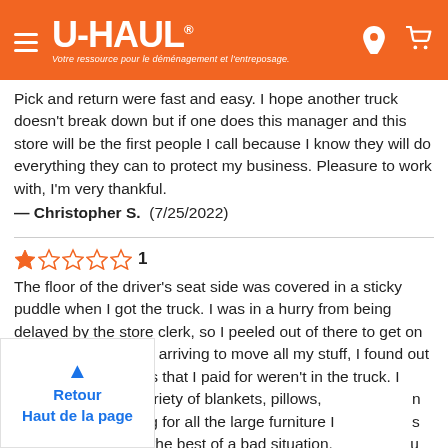[Figure (logo): U-HAUL orange header bar with hamburger menu, U-HAUL logo, tagline 'Votre ressource pour le déménagement et l'entreposage.', location pin icon, and cart icon]
Pick and return were fast and easy. I hope another truck doesn't break down but if one does this manager and this store will be the first people I call because I know they will do everything they can to protect my business. Pleasure to work with, I'm very thankful.
— Christopher S.  (7/25/2022)
★☆☆☆☆ 1
The floor of the driver's seat side was covered in a sticky puddle when I got the truck. I was in a hurry from being delayed by the store clerk, so I peeled out of there to get on with my move. Upon arriving to move all my stuff, I found out that the moving pads that I paid for weren't in the truck. I ended up using a variety of blankets, pillows, [from] my home as padding for all the large furniture I [...] s fine since we made the best of a bad situation. [...] u pay for something like pads to make your move seamless, you are planning on having them available. The fact that
▲
Retour
Haut de la page